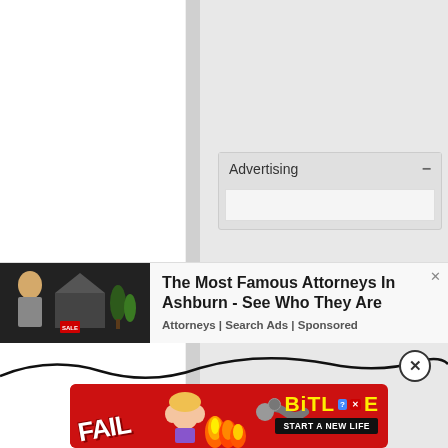[Figure (screenshot): Web page UI with left white panel, vertical divider, and right gray area]
Advertising —
[Figure (infographic): Advertisement: The Most Famous Attorneys In Ashburn - See Who They Are. Attorneys | Search Ads | Sponsored]
[Figure (infographic): BitLife game banner advertisement with FAIL badge, fire, worm logo, and START A NEW LIFE text]